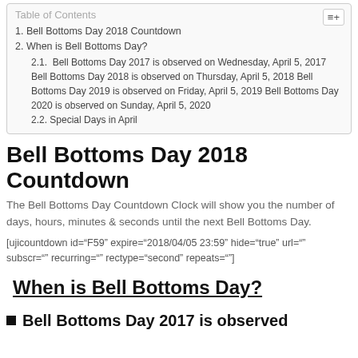1. Bell Bottoms Day 2018 Countdown
2. When is Bell Bottoms Day?
2.1. Bell Bottoms Day 2017 is observed on Wednesday, April 5, 2017 Bell Bottoms Day 2018 is observed on Thursday, April 5, 2018 Bell Bottoms Day 2019 is observed on Friday, April 5, 2019 Bell Bottoms Day 2020 is observed on Sunday, April 5, 2020
2.2. Special Days in April
Bell Bottoms Day 2018 Countdown
The Bell Bottoms Day Countdown Clock will show you the number of days, hours, minutes & seconds until the next Bell Bottoms Day.
[ujicountdown id="F59" expire="2018/04/05 23:59" hide="true" url="" subscr="" recurring="" rectype="second" repeats=""]
When is Bell Bottoms Day?
Bell Bottoms Day 2017 is observed